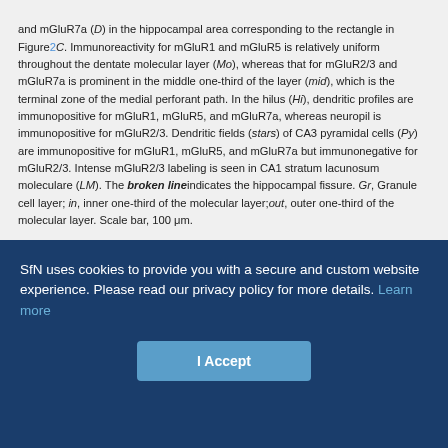and mGluR7a (D) in the hippocampal area corresponding to the rectangle in Figure 2C. Immunoreactivity for mGluR1 and mGluR5 is relatively uniform throughout the dentate molecular layer (Mo), whereas that for mGluR2/3 and mGluR7a is prominent in the middle one-third of the layer (mid), which is the terminal zone of the medial perforant path. In the hilus (Hi), dendritic profiles are immunopositive for mGluR1, mGluR5, and mGluR7a, whereas neuropil is immunopositive for mGluR2/3. Dendritic fields (stars) of CA3 pyramidal cells (Py) are immunopositive for mGluR1, mGluR5, and mGluR7a but immunonegative for mGluR2/3. Intense mGluR2/3 labeling is seen in CA1 stratum lacunosum moleculare (LM). The broken line indicates the hippocampal fissure. Gr, Granule cell layer; in, inner one-third of the molecular layer; out, outer one-third of the molecular layer. Scale bar, 100 μm.
[Figure (photo): White rectangular area representing a figure/image panel (content not visible in this crop)]
SfN uses cookies to provide you with a secure and custom website experience. Please read our privacy policy for more details. Learn more